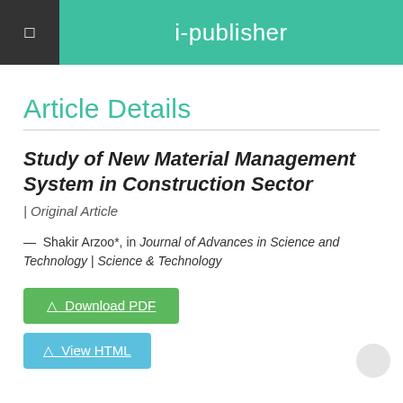i-publisher
Article Details
Study of New Material Management System in Construction Sector | Original Article
— Shakir Arzoo*, in Journal of Advances in Science and Technology | Science & Technology
⬇ Download PDF
⬇ View HTML